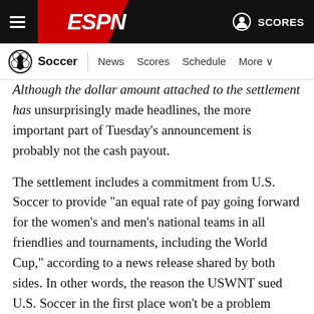ESPN — Soccer | News  Scores  Schedule  More
Although the dollar amount attached to the settlement has unsurprisingly made headlines, the more important part of Tuesday's announcement is probably not the cash payout.
The settlement includes a commitment from U.S. Soccer to provide "an equal rate of pay going forward for the women's and men's national teams in all friendlies and tournaments, including the World Cup," according to a news release shared by both sides. In other words, the reason the USWNT sued U.S. Soccer in the first place won't be a problem going forward -- and that has much further-reaching implications than a $22 million lump sum.
"This will completely change the landscape of the women's game in the country forever," USWNT forward Megan